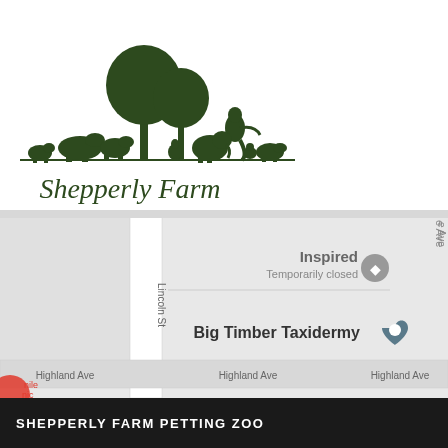[Figure (logo): Shepperly Farm logo with dark green silhouettes of farm animals and trees above cursive text 'Shepperly Farm']
[Figure (screenshot): Google Maps screenshot showing Lincoln St running vertically, Highland Ave running horizontally, with markers for 'Inspired (Temporarily closed)' and 'Big Timber Taxidermy']
SHEPPERLY FARM PETTING ZOO